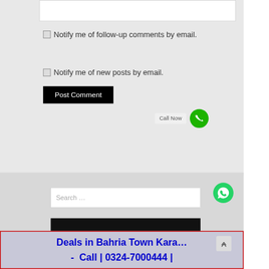[Figure (screenshot): Web form section with checkbox options: 'Notify me of follow-up comments by email.' and 'Notify me of new posts by email.', a black 'Post Comment' button, and a 'Call Now' label with green phone icon.]
Notify me of follow-up comments by email.
Notify me of new posts by email.
Post Comment
Call Now
[Figure (screenshot): Search box with placeholder text 'Search ...' and a green WhatsApp phone icon on the right, followed by a black button below.]
Search …
Deals in Bahria Town Kara... - Call | 0324-7000444 |